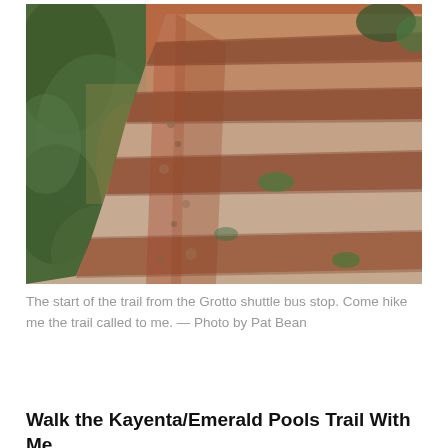[Figure (photo): Photograph of rocky red sandstone steps/trail leading upward, with green desert shrubs and dry grass on the left side. The trail shows natural stone steps carved into the red rock terrain at Zion National Park near the Grotto shuttle bus stop.]
The start of the trail from the Grotto shuttle bus stop. Come hike me the trail called to me. — Photo by Pat Bean
Walk the Kayenta/Emerald Pools Trail With Me